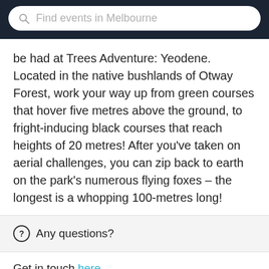Find events in Melbourne
be had at Trees Adventure: Yeodene. Located in the native bushlands of Otway Forest, work your way up from green courses that hover five metres above the ground, to fright-inducing black courses that reach heights of 20 metres! After you've taken on aerial challenges, you can zip back to earth on the park's numerous flying foxes – the longest is a whopping 100-metres long!
Any questions?
Get in touch here
$51.00 — GET IT